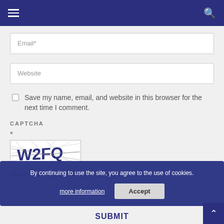Navigation header with hamburger menu and search icon
Email*
Website
Save my name, email, and website in this browser for the next time I comment.
CAPTCHA
*
[Figure (other): CAPTCHA image showing distorted text W2FQ]
TYPE THE TEXT DISPLAYED ABOVE:
By continuing to use the site, you agree to the use of cookies.
more information
Accept
SUBMIT